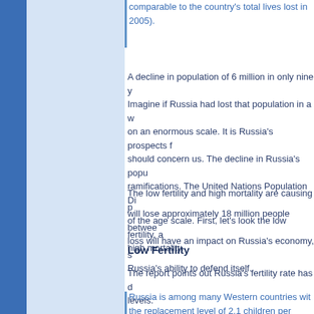comparable to the country's total lives lost in 2005).
A decline in population of 6 million in only nine y... Imagine if Russia had lost that population in a w... on an enormous scale. It is Russia's prospects f... should concern us. The decline in Russia's popu... ramifications. The United Nations Population Di... will lose approximately 18 million people between... loss will have an impact on Russia's economy, s... Russia's ability to defend itself.
The low fertility and high mortality are causing p... of the age scale. First, let's look the low fertility, a... high mortality.
Low Fertility
The report points out Russia's fertility rate has d... levels.
Russia is among many Western countries wit... the replacement level of 2.1 children per wom...